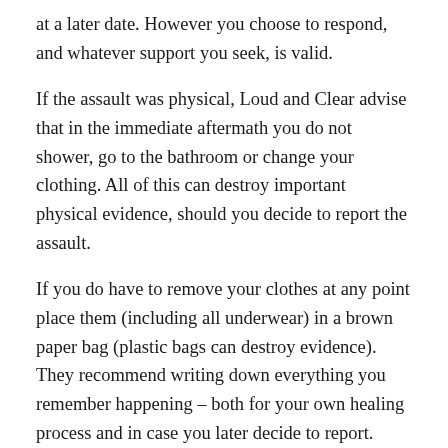at a later date. However you choose to respond, and whatever support you seek, is valid.
If the assault was physical, Loud and Clear advise that in the immediate aftermath you do not shower, go to the bathroom or change your clothing. All of this can destroy important physical evidence, should you decide to report the assault.
If you do have to remove your clothes at any point place them (including all underwear) in a brown paper bag (plastic bags can destroy evidence). They recommend writing down everything you remember happening – both for your own healing process and in case you later decide to report.
It is also important to seek medical attention if you are able to in case of hidden injuries and potential impregnation or